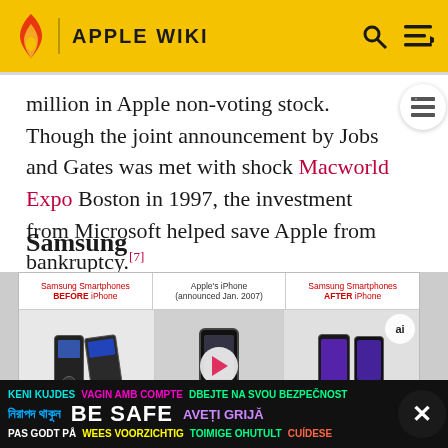APPLE WIKI
million in Apple non-voting stock. Though the joint announcement by Jobs and Gates was met with shock at Macworld Expo Boston in 1997, the investment from Microsoft helped save Apple from bankruptcy.[7]
Samsung
[Figure (photo): Comparison image showing Samsung Smartphones BEFORE iPhone, Apple's iPhone (announced Jan. 2007), and Samsung Smartphones AFTER iPhone, with a video play button overlay. Partially overlaid by a 'BE SAFE' multilingual ad banner.]